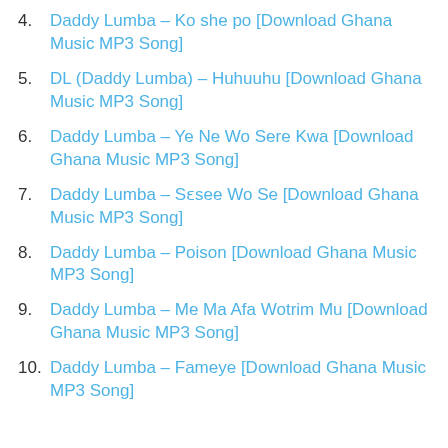4. Daddy Lumba – Ko she po [Download Ghana Music MP3 Song]
5. DL (Daddy Lumba) – Huhuuhu [Download Ghana Music MP3 Song]
6. Daddy Lumba – Ye Ne Wo Sere Kwa [Download Ghana Music MP3 Song]
7. Daddy Lumba – Sɛsee Wo Se [Download Ghana Music MP3 Song]
8. Daddy Lumba – Poison [Download Ghana Music MP3 Song]
9. Daddy Lumba – Me Ma Afa Wotrim Mu [Download Ghana Music MP3 Song]
10. Daddy Lumba – Fameye [Download Ghana Music MP3 Song]